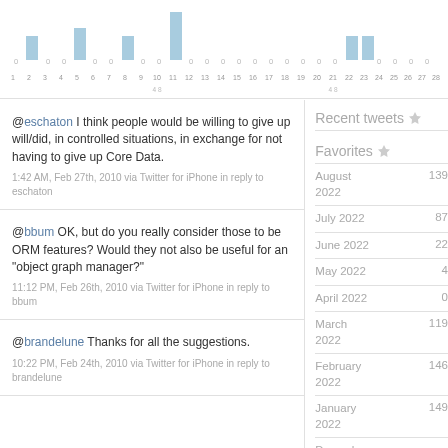[Figure (bar-chart): Tweets per day]
@eschaton I think people would be willing to give up will/did, in controlled situations, in exchange for not having to give up Core Data.
1:42 AM, Feb 27th, 2010 via Twitter for iPhone in reply to eschaton
@bbum OK, but do you really consider those to be ORM features? Would they not also be useful for an "object graph manager?"
11:12 PM, Feb 26th, 2010 via Twitter for iPhone in reply to bbum
@brandelune Thanks for all the suggestions.
10:22 PM, Feb 24th, 2010 via Twitter for iPhone in reply to brandelune
Recent tweets
Favorites
August 2022   139
July 2022   87
June 2022   22
May 2022   4
April 2022   0
March 2022   119
February 2022   146
January 2022   149
December